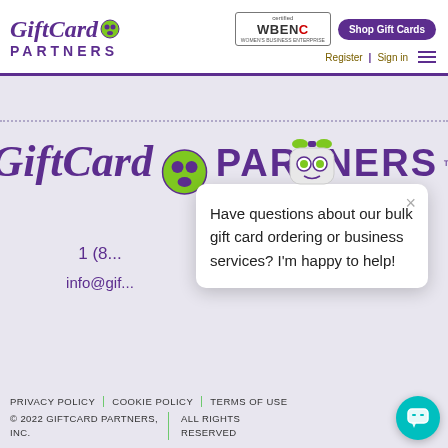[Figure (logo): GiftCard Partners logo with purple text and green circular icon]
[Figure (logo): WBENC Certified Women's Business Enterprise badge]
Shop Gift Cards
Register | Sign in
[Figure (logo): Large GiftCard Partners logo centered on light purple background]
1 (8...
info@gif...
[Figure (other): Chat bot robot icon with green eyes and bow]
Have questions about our bulk gift card ordering or business services? I'm happy to help!
PRIVACY POLICY | COOKIE POLICY | TERMS OF USE
© 2022 GIFTCARD PARTNERS, INC. | ALL RIGHTS RESERVED